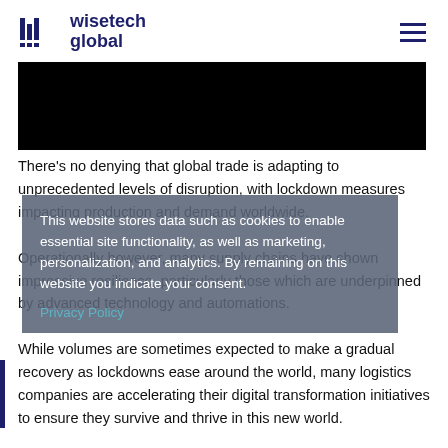WiseTech Global
[Figure (photo): Black hero image banner]
There’s no denying that global trade is adapting to unprecedented levels of disruption, with lockdown measures impacting production and demand worldwide. Operationally however, many supply chains have shown impressive resilience, particularly those which are underpinned by advanced technology and automations. While volumes are sometimes expected to make a gradual recovery as lockdowns ease around the world, many logistics companies are accelerating their digital transformation initiatives to ensure they survive and thrive in this new world.
This website stores data such as cookies to enable essential site functionality, as well as marketing, personalization, and analytics. By remaining on this website you indicate your consent.
Privacy Policy